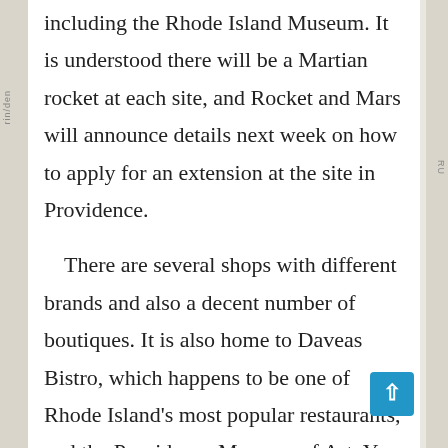including the Rhode Island Museum. It is understood there will be a Martian rocket at each site, and Rocket and Mars will announce details next week on how to apply for an extension at the site in Providence.
There are several shops with different brands and also a decent number of boutiques. It is also home to Daveas Bistro, which happens to be one of Rhode Island's most popular restaurants, and the Providence Museum of Art. You also have a good selection of restaurants and bars with a wide selection of food and drinks.